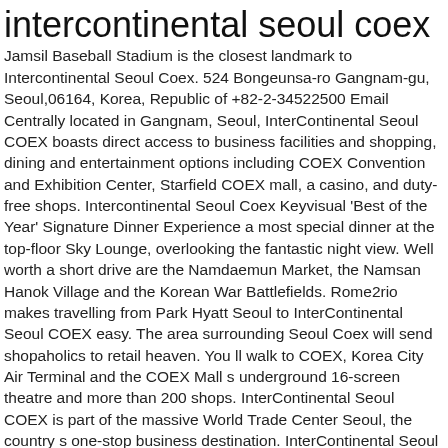intercontinental seoul coex
Jamsil Baseball Stadium is the closest landmark to Intercontinental Seoul Coex. 524 Bongeunsa-ro Gangnam-gu, Seoul,06164, Korea, Republic of +82-2-34522500 Email Centrally located in Gangnam, Seoul, InterContinental Seoul COEX boasts direct access to business facilities and shopping, dining and entertainment options including COEX Convention and Exhibition Center, Starfield COEX mall, a casino, and duty-free shops. Intercontinental Seoul Coex Keyvisual 'Best of the Year' Signature Dinner Experience a most special dinner at the top-floor Sky Lounge, overlooking the fantastic night view. Well worth a short drive are the Namdaemun Market, the Namsan Hanok Village and the Korean War Battlefields. Rome2rio makes travelling from Park Hyatt Seoul to InterContinental Seoul COEX easy. The area surrounding Seoul Coex will send shopaholics to retail heaven. You ll walk to COEX, Korea City Air Terminal and the COEX Mall s underground 16-screen theatre and more than 200 shops. InterContinental Seoul COEX is part of the massive World Trade Center Seoul, the country s one-stop business destination. InterContinental Seoul COEX is part of the massive World Trade Center Seoul, the country s one-stop business destination. Make your stay at InterContinentalSeoul COEX even more